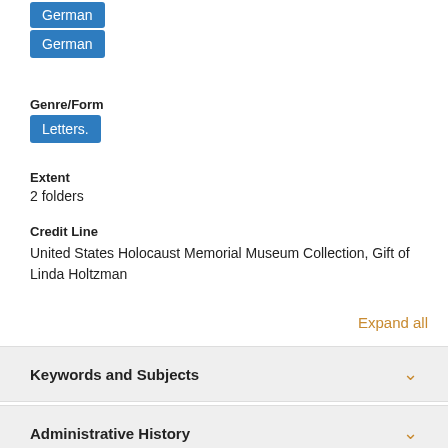German
Genre/Form
Letters.
Extent
2 folders
Credit Line
United States Holocaust Memorial Museum Collection, Gift of Linda Holtzman
Expand all
Keywords and Subjects
Administrative History